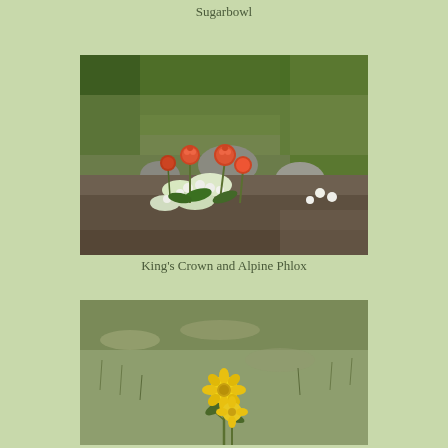Sugarbowl
[Figure (photo): Photograph of King's Crown and Alpine Phlox wildflowers growing among rocks and grasses on a hillside. Orange-red King's Crown flowers with white Alpine Phlox flowers visible among green foliage.]
King's Crown and Alpine Phlox
[Figure (photo): Photograph of a yellow flower (appears to be a Mule's Ear or similar yellow wildflower) growing in sparse dry grassy terrain.]